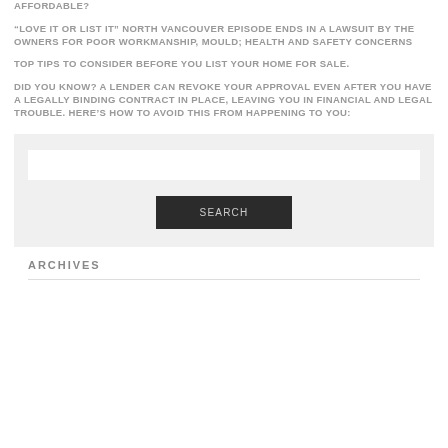AFFORDABLE?
“LOVE IT OR LIST IT” NORTH VANCOUVER EPISODE ENDS IN A LAWSUIT BY THE OWNERS FOR POOR WORKMANSHIP, MOULD; HEALTH AND SAFETY CONCERNS
TOP TIPS TO CONSIDER BEFORE YOU LIST YOUR HOME FOR SALE.
DID YOU KNOW? A LENDER CAN REVOKE YOUR APPROVAL EVEN AFTER YOU HAVE A LEGALLY BINDING CONTRACT IN PLACE, LEAVING YOU IN FINANCIAL AND LEGAL TROUBLE. HERE’S HOW TO AVOID THIS FROM HAPPENING TO YOU:
[Figure (screenshot): Search box with a white text input field and a dark SEARCH button]
ARCHIVES